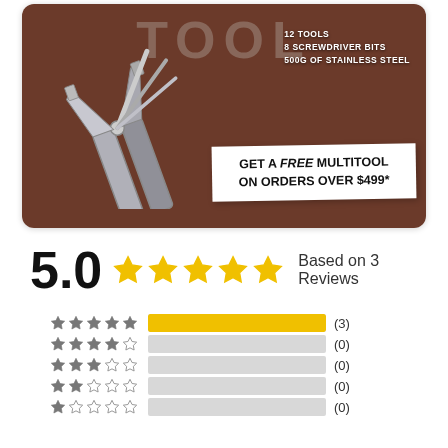[Figure (photo): Promotional image of a multitool (pliers) on brown background with white 'GET A FREE MULTITOOL ON ORDERS OVER $499*' banner and specs text '12 TOOLS 8 SCREWDRIVER BITS 500G OF STAINLESS STEEL']
5.0 ★★★★★ Based on 3 Reviews
[Figure (bar-chart): Rating histogram]
(3)
(0)
(0)
(0)
(0)